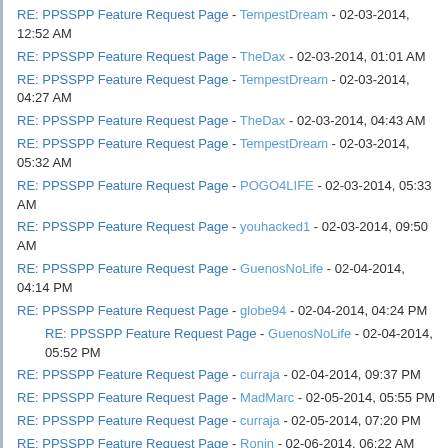RE: PPSSPP Feature Request Page - TempestDream - 02-03-2014, 12:52 AM
RE: PPSSPP Feature Request Page - TheDax - 02-03-2014, 01:01 AM
RE: PPSSPP Feature Request Page - TempestDream - 02-03-2014, 04:27 AM
RE: PPSSPP Feature Request Page - TheDax - 02-03-2014, 04:43 AM
RE: PPSSPP Feature Request Page - TempestDream - 02-03-2014, 05:32 AM
RE: PPSSPP Feature Request Page - POGO4LIFE - 02-03-2014, 05:33 AM
RE: PPSSPP Feature Request Page - youhacked1 - 02-03-2014, 09:50 AM
RE: PPSSPP Feature Request Page - GuenosNoLife - 02-04-2014, 04:14 PM
RE: PPSSPP Feature Request Page - globe94 - 02-04-2014, 04:24 PM
RE: PPSSPP Feature Request Page - GuenosNoLife - 02-04-2014, 05:52 PM
RE: PPSSPP Feature Request Page - curraja - 02-04-2014, 09:37 PM
RE: PPSSPP Feature Request Page - MadMarc - 02-05-2014, 05:55 PM
RE: PPSSPP Feature Request Page - curraja - 02-05-2014, 07:20 PM
RE: PPSSPP Feature Request Page - Ronin - 02-06-2014, 06:22 AM
RE: PPSSPP Feature Request Page - Gurlok - 02-08-2014, 02:35 PM
RE: PPSSPP Feature Request Page - LunaMoo - 02-09-2014, 12:23 AM